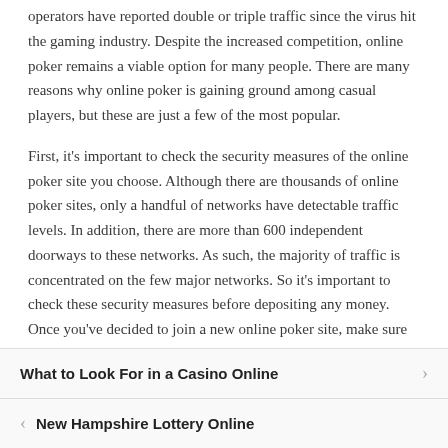operators have reported double or triple traffic since the virus hit the gaming industry. Despite the increased competition, online poker remains a viable option for many people. There are many reasons why online poker is gaining ground among casual players, but these are just a few of the most popular.
First, it's important to check the security measures of the online poker site you choose. Although there are thousands of online poker sites, only a handful of networks have detectable traffic levels. In addition, there are more than 600 independent doorways to these networks. As such, the majority of traffic is concentrated on the few major networks. So it's important to check these security measures before depositing any money. Once you've decided to join a new online poker site, make sure that it supports multiple currencies and is safe to do so.
What to Look For in a Casino Online
New Hampshire Lottery Online